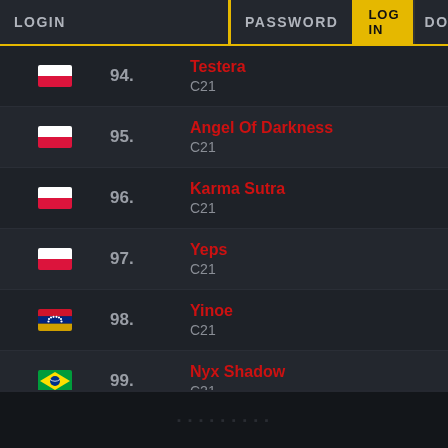LOGIN | PASSWORD | LOG IN | DON
| Flag | Rank | Player / Clan |
| --- | --- | --- |
| Poland | 94. | Testera / C21 |
| Poland | 95. | Angel Of Darkness / C21 |
| Poland | 96. | Karma Sutra / C21 |
| Poland | 97. | Yeps / C21 |
| Venezuela | 98. | Yinoe / C21 |
| Brazil | 99. | Nyx Shadow / C21 |
| Poland | 100. | Lysven / C21 |